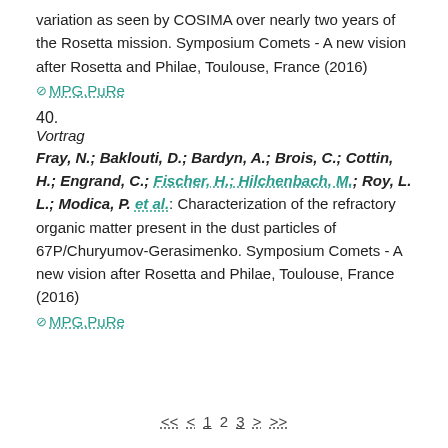variation as seen by COSIMA over nearly two years of the Rosetta mission. Symposium Comets - A new vision after Rosetta and Philae, Toulouse, France (2016)
⊘ MPG.PuRe
40.
Vortrag
Fray, N.; Baklouti, D.; Bardyn, A.; Brois, C.; Cottin, H.; Engrand, C.; Fischer, H.; Hilchenbach, M.; Roy, L. L.; Modica, P. et al.: Characterization of the refractory organic matter present in the dust particles of 67P/Churyumov-Gerasimenko. Symposium Comets - A new vision after Rosetta and Philae, Toulouse, France (2016)
⊘ MPG.PuRe
<< < 1 2 3 > >>